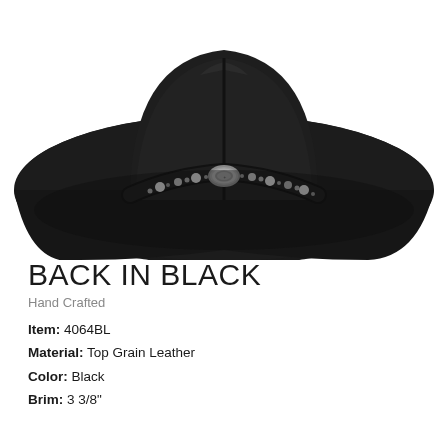[Figure (photo): Black cowboy hat photographed from above/front angle, showing brim and crown with decorative studded hatband featuring rhinestones and a silver concho medallion.]
BACK IN BLACK
Hand Crafted
Item: 4064BL
Material: Top Grain Leather
Color: Black
Brim: 3 3/8"